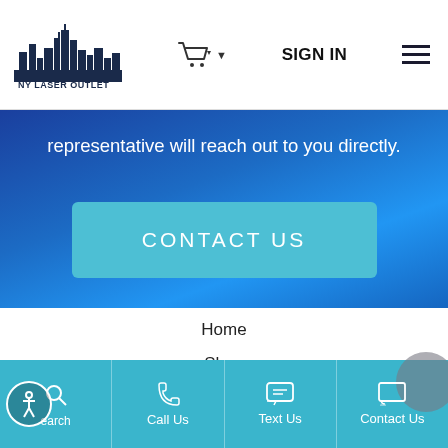NY Laser Outlet — SIGN IN — Menu
representative will reach out to you directly.
[Figure (screenshot): CONTACT US button — teal/cyan rounded rectangle button with white text]
Home
Shop
Buy a Cosmetic Laser
Buy a Handpiece
Parts for Laser & IPL
Search | Call Us | Text Us | Contact Us